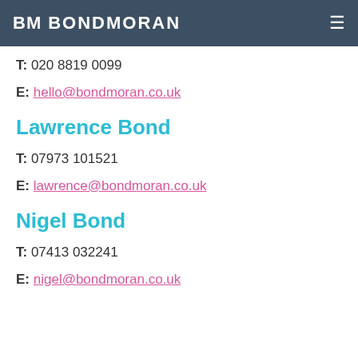BM BONDMORAN
T: 020 8819 0099
E: hello@bondmoran.co.uk
Lawrence Bond
T: 07973 101521
E: lawrence@bondmoran.co.uk
Nigel Bond
T: 07413 032241
E: nigel@bondmoran.co.uk